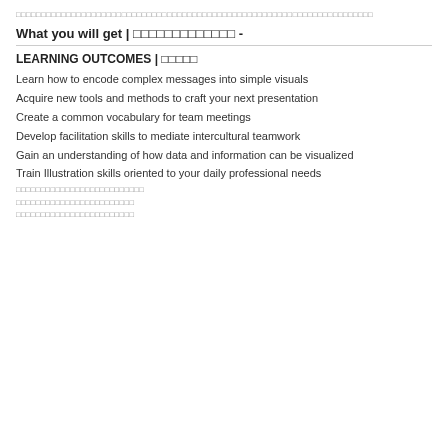□□□□□□□□□□□□□□□□□□□□□□□□□□□□□□□□□□□□□□□□□□□□□□□□□□□
What you will get | □□□□□□□□□□□□□ -
LEARNING OUTCOMES | □□□□□
Learn how to encode complex messages into simple visuals
Acquire new tools and methods to craft your next presentation
Create a common vocabulary for team meetings
Develop facilitation skills to mediate intercultural teamwork
Gain an understanding of how data and information can be visualized
Train Illustration skills oriented to your daily professional needs
□□□□□□□□□□□□□□□□□□□□□□□
□□□□□□□□□□□□□□□□□□□□□
□□□□□□□□□□□□□□□□□□□□□